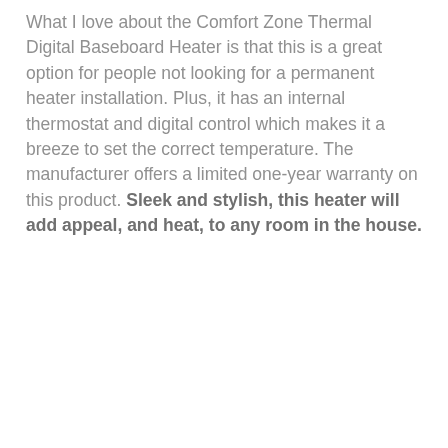What I love about the Comfort Zone Thermal Digital Baseboard Heater is that this is a great option for people not looking for a permanent heater installation. Plus, it has an internal thermostat and digital control which makes it a breeze to set the correct temperature. The manufacturer offers a limited one-year warranty on this product. Sleek and stylish, this heater will add appeal, and heat, to any room in the house.